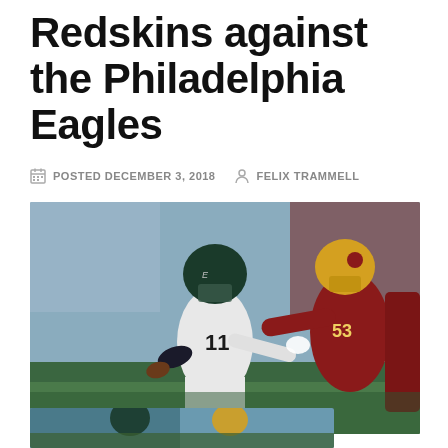Redskins against the Philadelphia Eagles
POSTED DECEMBER 3, 2018  FELIX TRAMMELL
[Figure (photo): Philadelphia Eagles quarterback #11 scrambling away from Washington Redskins defender #53 during an NFL game]
Tweet
[Figure (photo): Second photo showing Eagles and Redskins players on the field, partially visible at bottom of page]